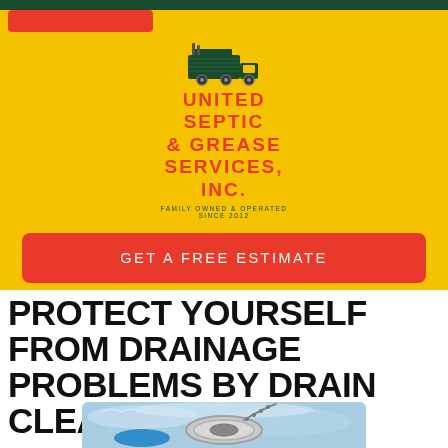[Figure (logo): United Septic & Grease Services, Inc. logo with truck icon on yellow background. Red text reads UNITED SEPTIC & GREASE SERVICES, INC. with green subtext FAMILY OWNED & OPERATED SINCE 2012]
GET A FREE ESTIMATE
PROTECT YOURSELF FROM DRAINAGE PROBLEMS BY DRAIN CLEANING IN MIAMI
[Figure (photo): Photo of a bathroom drain with water and a blue sponge or cleaning tool nearby]